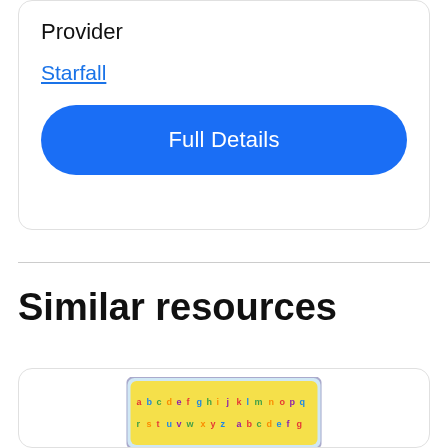Provider
Starfall
Full Details
Similar resources
[Figure (screenshot): A colorful educational app screenshot showing alphabet letters on a yellow background with decorative border]